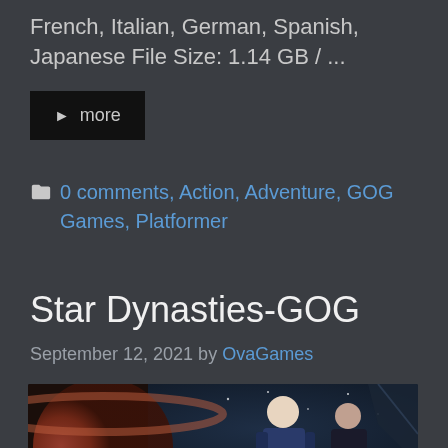French, Italian, German, Spanish, Japanese File Size: 1.14 GB / ...
▶ more
0 comments, Action, Adventure, GOG Games, Platformer
Star Dynasties-GOG
September 12, 2021 by OvaGames
[Figure (photo): Promotional game art for Star Dynasties showing two characters standing against a space backdrop with a planet and a crown symbol]